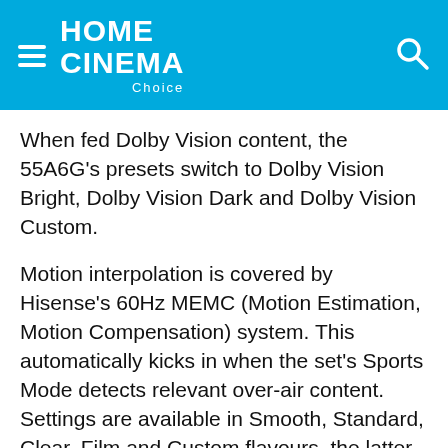HOME CINEMA Choice
When fed Dolby Vision content, the 55A6G's presets switch to Dolby Vision Bright, Dolby Vision Dark and Dolby Vision Custom.
Motion interpolation is covered by Hisense's 60Hz MEMC (Motion Estimation, Motion Compensation) system. This automatically kicks in when the set's Sports Mode detects relevant over-air content. Settings are available in Smooth, Standard, Clear, Film and Custom flavours, the latter allowing for manual adjustment of judder and blur reduction.
All feel slightly different, but there's a distinct aroma of soap here, so for movies I'd suggest turning the processing off completely.